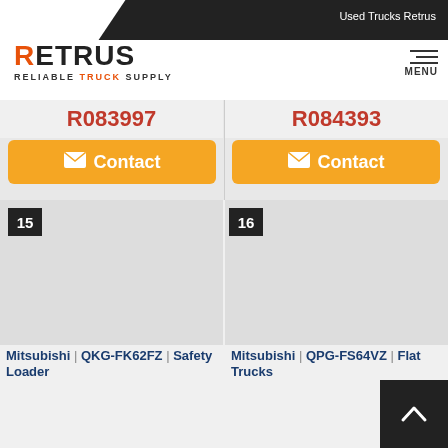Used Trucks Retrus
[Figure (logo): Retrus logo - RELIABLE TRUCK SUPPLY]
R083997
Contact
R084393
Contact
15
16
Mitsubishi | QKG-FK62FZ | Safety Loader
Mitsubishi | QPG-FS64VZ | Flat Trucks
Year 2016/01
Mileage 128,335 km
Year 2015/10
Mileage 546,558 k
R090060
R090200